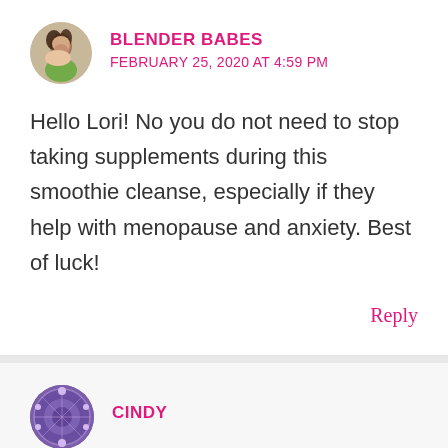[Figure (photo): Avatar photo of Blender Babes author, a woman with dark hair, small circular profile image]
BLENDER BABES
FEBRUARY 25, 2020 AT 4:59 PM
Hello Lori! No you do not need to stop taking supplements during this smoothie cleanse, especially if they help with menopause and anxiety. Best of luck!
Reply
[Figure (illustration): Avatar icon for Cindy, circular purple/blue patterned icon]
CINDY